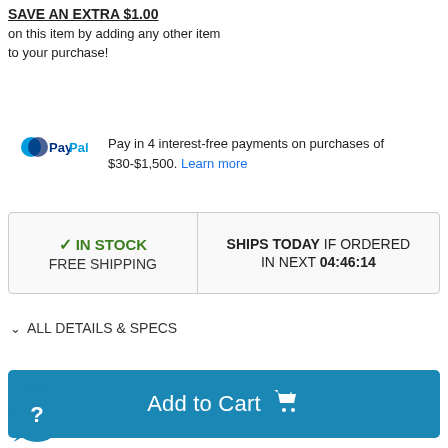SAVE AN EXTRA $1.00 on this item by adding any other item to your purchase!
PayPal Pay in 4 interest-free payments on purchases of $30-$1,500. Learn more
| Stock Info | Shipping Info |
| --- | --- |
| ✓ IN STOCK
FREE SHIPPING | SHIPS TODAY IF ORDERED
IN NEXT 04:46:14 |
▾ ALL DETAILS & SPECS
[Figure (other): Add to Cart button in blue]
[Figure (other): Help/chat bubble icon at bottom left]